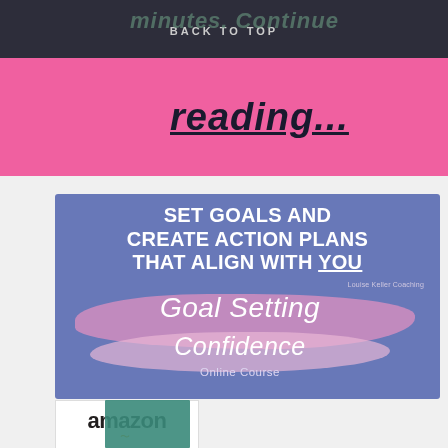minutes. Continue BACK TO TOP
reading...
[Figure (illustration): Promotional banner for Louise Keller Coaching Goal Setting Confidence Online Course with text: SET GOALS AND CREATE ACTION PLANS THAT ALIGN WITH YOU]
[Figure (logo): Amazon logo with orange arrow and book thumbnail]